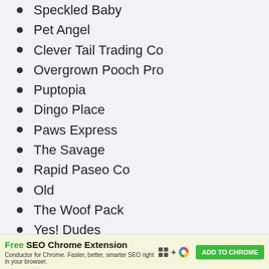Speckled Baby
Pet Angel
Clever Tail Trading Co
Overgrown Pooch Pro
Puptopia
Dingo Place
Paws Express
The Savage
Rapid Paseo Co
Old
The Woof Pack
Yes! Dudes
Whelp Trading Co
[Figure (screenshot): Advertisement banner: Free SEO Chrome Extension by Conductor. Green ADD TO CHROME button on the right.]